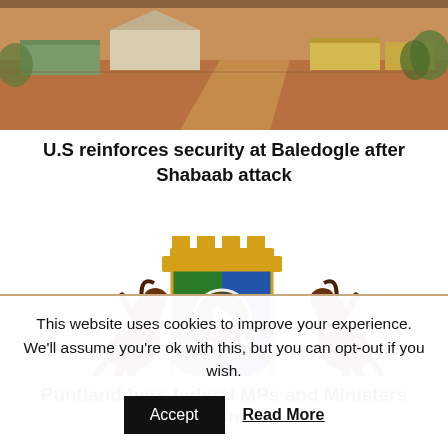[Figure (photo): Aerial/overhead photo of a compound with shipping containers and dirt road, appears to be Baledogle military airfield area]
U.S reinforces security at Baledogle after Shabaab attack
[Figure (illustration): Puntland regional coat of arms with two rearing horses flanking a shield divided green and blue with a lantern, topped by a gold crown, with olive branches at base and a video play button overlay]
Puntland bars federal MPs and Ministers from
This website uses cookies to improve your experience. We'll assume you're ok with this, but you can opt-out if you wish.
Accept  Read More